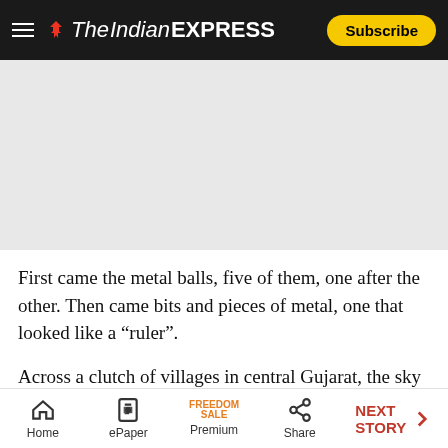The Indian Express — Subscribe
[Figure (other): Grey advertisement placeholder area]
First came the metal balls, five of them, one after the other. Then came bits and pieces of metal, one that looked like a “ruler”.
Across a clutch of villages in central Gujarat, the sky is falling — literally.
Home | ePaper | Premium (FREEDOM SALE) | Share | NEXT STORY